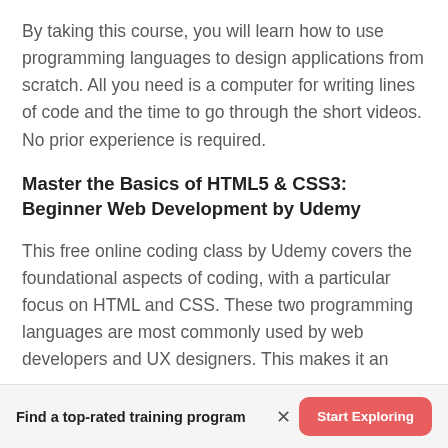By taking this course, you will learn how to use programming languages to design applications from scratch. All you need is a computer for writing lines of code and the time to go through the short videos. No prior experience is required.
Master the Basics of HTML5 & CSS3: Beginner Web Development by Udemy
This free online coding class by Udemy covers the foundational aspects of coding, with a particular focus on HTML and CSS. These two programming languages are most commonly used by web developers and UX designers. This makes it an
Find a top-rated training program